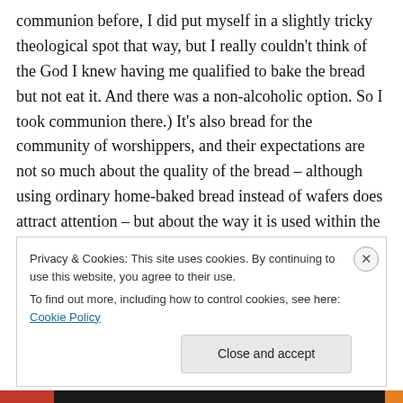communion before, I did put myself in a slightly tricky theological spot that way, but I really couldn't think of the God I knew having me qualified to bake the bread but not eat it. And there was a non-alcoholic option. So I took communion there.) It's also bread for the community of worshippers, and their expectations are not so much about the quality of the bread – although using ordinary home-baked bread instead of wafers does attract attention – but about the way it is used within the ritual to form spiritual connections.
Privacy & Cookies: This site uses cookies. By continuing to use this website, you agree to their use.
To find out more, including how to control cookies, see here: Cookie Policy